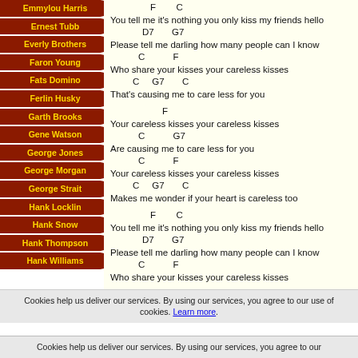Emmylou Harris
Ernest Tubb
Everly Brothers
Faron Young
Fats Domino
Ferlin Husky
Garth Brooks
Gene Watson
George Jones
George Morgan
George Strait
Hank Locklin
Hank Snow
Hank Thompson
Hank Williams
F   C
You tell me it's nothing you only kiss my friends hello
D7   G7
Please tell me darling how many people can I know
C   F
Who share your kisses your careless kisses
C   G7   C
That's causing me to care less for you

F
Your careless kisses your careless kisses
C   G7
Are causing me to care less for you
C   F
Your careless kisses your careless kisses
C   G7   C
Makes me wonder if your heart is careless too

F   C
You tell me it's nothing you only kiss my friends hello
D7   G7
Please tell me darling how many people can I know
C   F
Who share your kisses your careless kisses
Cookies help us deliver our services. By using our services, you agree to our use of cookies. Learn more.
Cookies help us deliver our services. By using our services, you agree to our